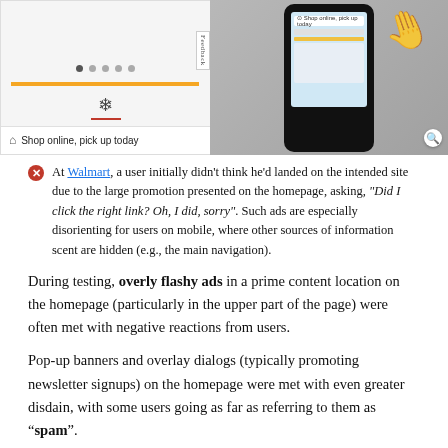[Figure (screenshot): Two-panel screenshot: left panel shows a retail website homepage with navigation dots, a yellow promotion bar, a snowflake icon with red underline, and 'Shop online, pick up today' footer with home icon; right panel shows a hand holding a smartphone displaying a similar mobile website interface.]
At Walmart, a user initially didn't think he'd landed on the intended site due to the large promotion presented on the homepage, asking, "Did I click the right link? Oh, I did, sorry". Such ads are especially disorienting for users on mobile, where other sources of information scent are hidden (e.g., the main navigation).
During testing, overly flashy ads in a prime content location on the homepage (particularly in the upper part of the page) were often met with negative reactions from users.
Pop-up banners and overlay dialogs (typically promoting newsletter signups) on the homepage were met with even greater disdain, with some users going as far as referring to them as “spam”.
Meanwhile, our mobile testing revealed the potential for